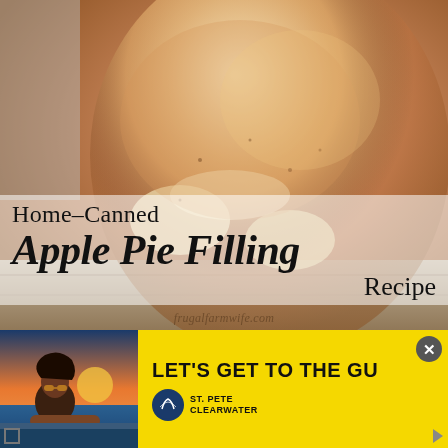[Figure (photo): Close-up photo of a glass mason jar filled with home-canned apple pie filling, showing golden-amber colored apple slices in syrup. The jar sits on a light wooden surface. A semi-transparent white overlay band across the middle contains the recipe title text.]
Home-Canned Apple Pie Filling Recipe
frugalfarmwife.com
[Figure (photo): Advertisement banner with yellow background. Left side shows a photo of a woman with sunglasses near a pool at sunset. Right side has bold black text reading 'LET'S GET TO THE GU' (partially cut off) with a close button, and a St. Pete Clearwater logo below.]